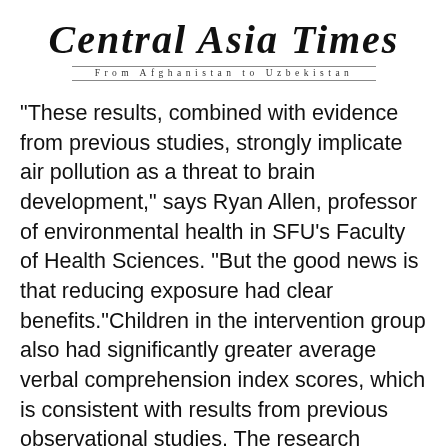Central Asia Times — From Afghanistan to Uzbekistan
"These results, combined with evidence from previous studies, strongly implicate air pollution as a threat to brain development," says Ryan Allen, professor of environmental health in SFU's Faculty of Health Sciences. "But the good news is that reducing exposure had clear benefits."Children in the intervention group also had significantly greater average verbal comprehension index scores, which is consistent with results from previous observational studies. The research suggests that a child's verbal skills may be particularly sensitive to air pollution exposure.
More than 90 per cent of the world's population breathes air with particulate matter concentrations above the WHO guidelines. The researchers